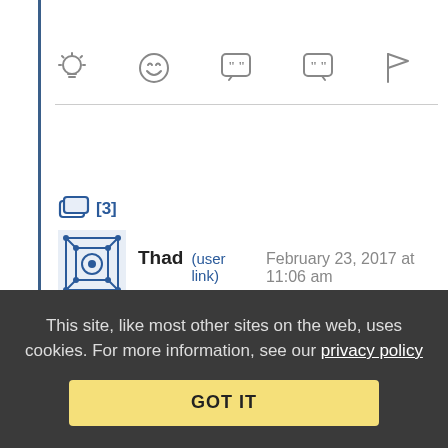[Figure (other): Toolbar icons: lightbulb, laughing emoji, open-quote speech bubble, close-quote speech bubble, flag]
[3]
[Figure (other): User avatar: geometric blue and white pattern]
Thad (user link)   February 23, 2017 at 11:06 am
Re: Re: Frank Zappa would be pleased
Frank's comment on his kids' given names was, "It's their last name that's going to get them into trouble."
Reply | View in chronology
This site, like most other sites on the web, uses cookies. For more information, see our privacy policy  GOT IT